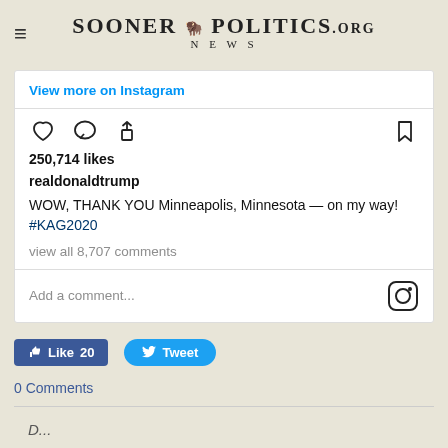Sooner Politics News .org
View more on Instagram
250,714 likes
realdonaldtrump
WOW, THANK YOU Minneapolis, Minnesota — on my way! #KAG2020
view all 8,707 comments
Add a comment...
Like 20   Tweet
0 Comments
D...